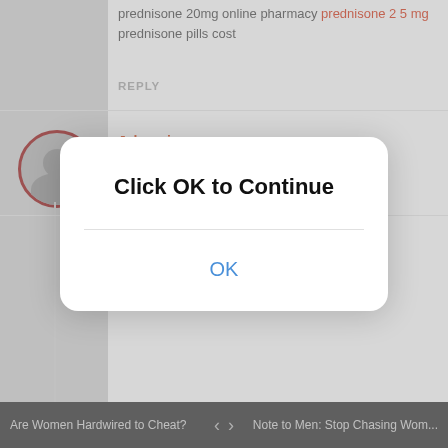prednisone 20mg online pharmacy prednisone 2 5 mg prednisone pills cost
REPLY
Jebnnainc
4 months ago
online rx pharmacy Seroquel
Nndennainc
expired levitra buying levitra online https://xclevitradb.com/
REPLY
Nathanavals
4 months ago
pharmacy cialis no prescription cialis pills cheap cialis
[Figure (screenshot): Modal dialog box with title 'Click OK to Continue' and an OK button in blue text]
Are Women Hardwired to Cheat? < > Note to Men: Stop Chasing Wom...